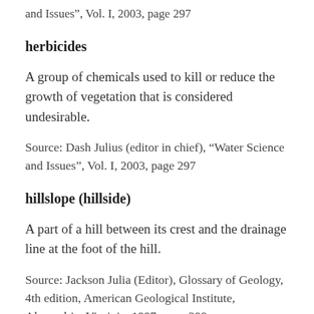and Issues", Vol. I, 2003, page 297
herbicides
A group of chemicals used to kill or reduce the growth of vegetation that is considered undesirable.
Source: Dash Julius (editor in chief), “Water Science and Issues”, Vol. I, 2003, page 297
hillslope (hillside)
A part of a hill between its crest and the drainage line at the foot of the hill.
Source: Jackson Julia (Editor), Glossary of Geology, 4th edition, American Geological Institute, Alexandria, Virginia, 1997, page 299